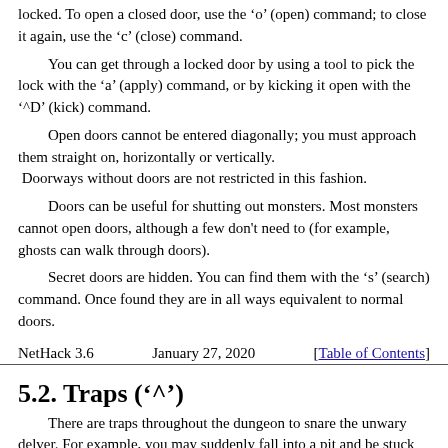locked.  To open a closed door, use the ‘o’ (open) command; to close it again, use the ‘c’ (close) command.

You can get through a locked door by using a tool to pick the lock with the ‘a’ (apply) command, or by kicking it open with the ‘^D’ (kick) command.

Open doors cannot be entered diagonally; you must approach them straight on, horizontally or vertically. Doorways without doors are not restricted in this fashion.

Doors can be useful for shutting out monsters.  Most monsters cannot open doors, although a few don't need to (for example, ghosts can walk through doors).

Secret doors are hidden.  You can find them with the ‘s’ (search) command.  Once found they are in all ways equivalent to normal doors.
NetHack 3.6          January 27, 2020          [Table of Contents]
5.2. Traps (‘^’)
There are traps throughout the dungeon to snare the unwary delver.  For example, you may suddenly fall into a pit and be stuck for a few turns trying to climb out.  Traps don't appear on your map until you see one triggered by